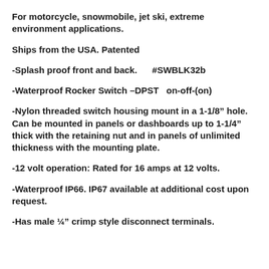For motorcycle, snowmobile, jet ski, extreme environment applications.
Ships from the USA. Patented
-Splash proof front and back.      #SWBLK32b
-Waterproof Rocker Switch –DPST   on-off-(on)
-Nylon threaded switch housing mount in a 1-1/8″ hole. Can be mounted in panels or dashboards up to 1-1/4″ thick with the retaining nut and in panels of unlimited thickness with the mounting plate.
-12 volt operation: Rated for 16 amps at 12 volts.
-Waterproof IP66. IP67 available at additional cost upon request.
-Has male ¼″ crimp style disconnect terminals.